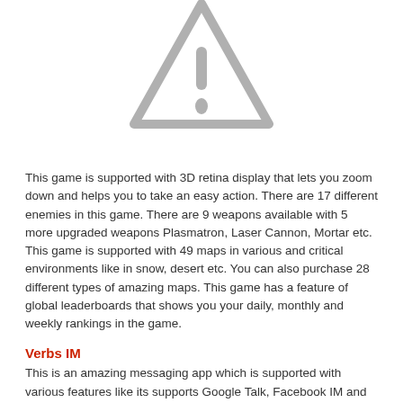[Figure (illustration): Gray warning/caution triangle icon with exclamation mark, partially cropped at top]
This game is supported with 3D retina display that lets you zoom down and helps you to take an easy action. There are 17 different enemies in this game. There are 9 weapons available with 5 more upgraded weapons Plasmatron, Laser Cannon, Mortar etc.
This game is supported with 49 maps in various and critical environments like in snow, desert etc. You can also purchase 28 different types of amazing maps. This game has a feature of global leaderboards that shows you your daily, monthly and weekly rankings in the game.
Verbs IM
This is an amazing messaging app which is supported with various features like its supports Google Talk, Facebook IM and Mobile Me...